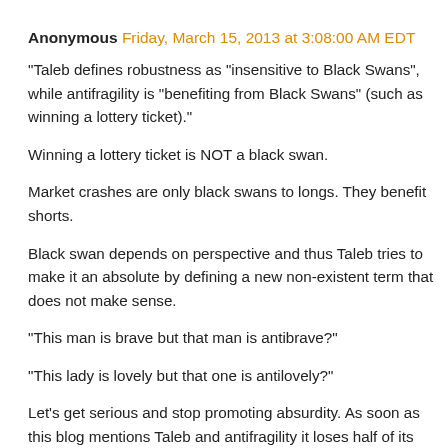Anonymous Friday, March 15, 2013 at 3:08:00 AM EDT
"Taleb defines robustness as "insensitive to Black Swans", while antifragility is "benefiting from Black Swans" (such as winning a lottery ticket)."
Winning a lottery ticket is NOT a black swan.
Market crashes are only black swans to longs. They benefit shorts.
Black swan depends on perspective and thus Taleb tries to make it an absolute by defining a new non-existent term that does not make sense.
"This man is brave but that man is antibrave?"
"This lady is lovely but that one is antilovely?"
Let's get serious and stop promoting absurdity. As soon as this blog mentions Taleb and antifragility it loses half of its